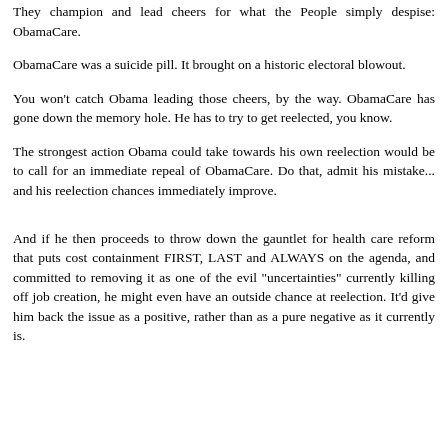They champion and lead cheers for what the People simply despise: ObamaCare.
ObamaCare was a suicide pill. It brought on a historic electoral blowout.
You won't catch Obama leading those cheers, by the way. ObamaCare has gone down the memory hole. He has to try to get reelected, you know.
The strongest action Obama could take towards his own reelection would be to call for an immediate repeal of ObamaCare. Do that, admit his mistake... and his reelection chances immediately improve.
And if he then proceeds to throw down the gauntlet for health care reform that puts cost containment FIRST, LAST and ALWAYS on the agenda, and committed to removing it as one of the evil "uncertainties" currently killing off job creation, he might even have an outside chance at reelection. It'd give him back the issue as a positive, rather than as a pure negative as it currently is.